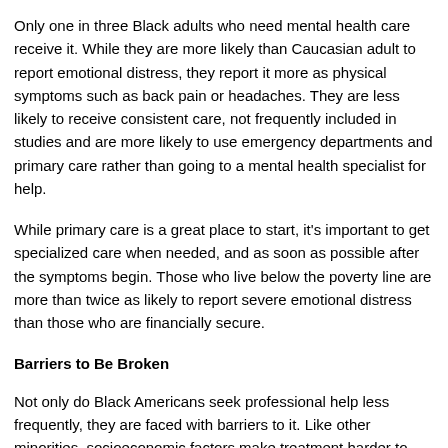Only one in three Black adults who need mental health care receive it. While they are more likely than Caucasian adult to report emotional distress, they report it more as physical symptoms such as back pain or headaches. They are less likely to receive consistent care, not frequently included in studies and are more likely to use emergency departments and primary care rather than going to a mental health specialist for help.
While primary care is a great place to start, it's important to get specialized care when needed, and as soon as possible after the symptoms begin. Those who live below the poverty line are more than twice as likely to report severe emotional distress than those who are financially secure.
Barriers to Be Broken
Not only do Black Americans seek professional help less frequently, they are faced with barriers to it. Like other minorities, socioeconomic factors make treatment harder to come by with not as much access to important health and